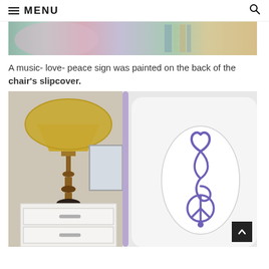MENU
[Figure (photo): Partial view of a colorful room with fabric/textile items visible at the top]
A music- love- peace sign was painted on the back of the chair's slipcover.
[Figure (photo): A white chair slipcover with a purple music-love-peace sign painted on the back, shown beside a nightstand with a lamp]